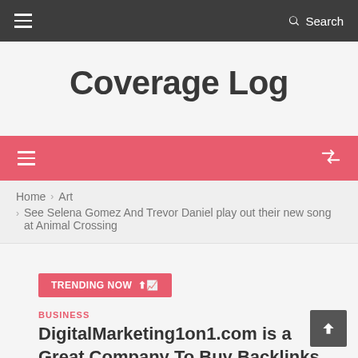Coverage Log — navigation top bar with hamburger menu and Search
Coverage Log
[Figure (screenshot): Pink navigation menu bar with hamburger icon on left and shuffle icon on right]
Home › Art › See Selena Gomez And Trevor Daniel play out their new song at Animal Crossing
TRENDING NOW
BUSINESS
DigitalMarketing1on1.com is a Great Company To Buy Backlinks From.